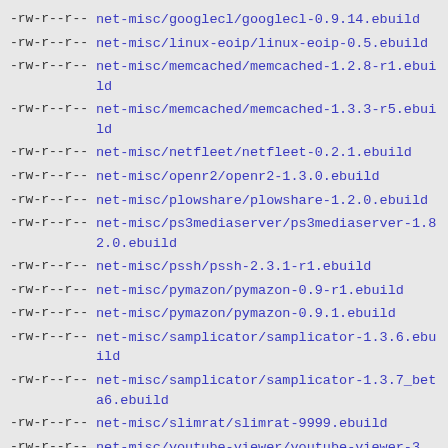-rw-r--r--  net-misc/googlecl/googlecl-0.9.14.ebuild
-rw-r--r--  net-misc/linux-eoip/linux-eoip-0.5.ebuild
-rw-r--r--  net-misc/memcached/memcached-1.2.8-r1.ebuild
-rw-r--r--  net-misc/memcached/memcached-1.3.3-r5.ebuild
-rw-r--r--  net-misc/netfleet/netfleet-0.2.1.ebuild
-rw-r--r--  net-misc/openr2/openr2-1.3.0.ebuild
-rw-r--r--  net-misc/plowshare/plowshare-1.2.0.ebuild
-rw-r--r--  net-misc/ps3mediaserver/ps3mediaserver-1.82.0.ebuild
-rw-r--r--  net-misc/pssh/pssh-2.3.1-r1.ebuild
-rw-r--r--  net-misc/pymazon/pymazon-0.9-r1.ebuild
-rw-r--r--  net-misc/pymazon/pymazon-0.9.1.ebuild
-rw-r--r--  net-misc/samplicator/samplicator-1.3.6.ebuild
-rw-r--r--  net-misc/samplicator/samplicator-1.3.7_beta6.ebuild
-rw-r--r--  net-misc/slimrat/slimrat-9999.ebuild
-rw-r--r--  net-misc/youtube-viewer/youtube-viewer-3.1.1.ebuild